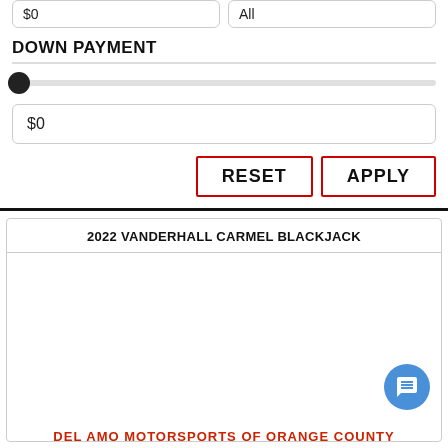$0
All
DOWN PAYMENT
$0
RESET
APPLY
2022 VANDERHALL CARMEL BLACKJACK
[Figure (photo): Vehicle listing card with white image area for 2022 Vanderhall Carmel Blackjack]
DEL AMO MOTORSPORTS OF ORANGE COUNTY